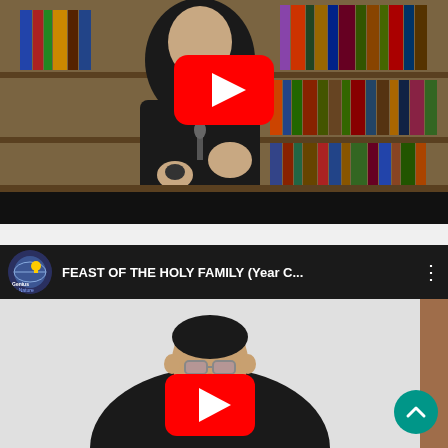[Figure (screenshot): YouTube video thumbnail showing a Catholic priest in black clerical clothing with white collar, gesturing with his hands against a bookshelf background. A red YouTube play button is visible in the upper center of the thumbnail. The bottom portion shows a black letterbox bar.]
[Figure (screenshot): YouTube video player interface showing a video titled 'FEAST OF THE HOLY FAMILY (Year C...' with a channel icon (Genius by Nature logo) on the left and three-dot menu on the right in the dark header bar. The video shows a priest with glasses in black clerical clothing. A red YouTube play button is visible. A DW badge appears top right. A teal scroll-up button is visible bottom right.]